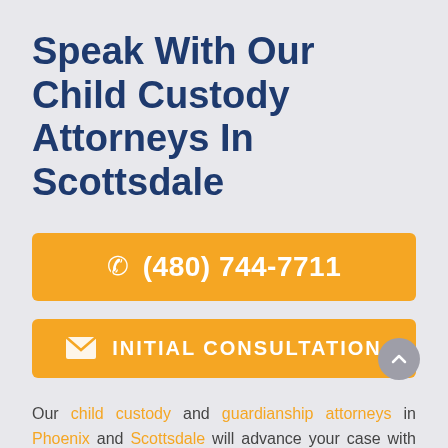Speak With Our Child Custody Attorneys In Scottsdale
(480) 744-7711
INITIAL CONSULTATION
Our child custody and guardianship attorneys in Phoenix and Scottsdale will advance your case with personal attention and care always have you